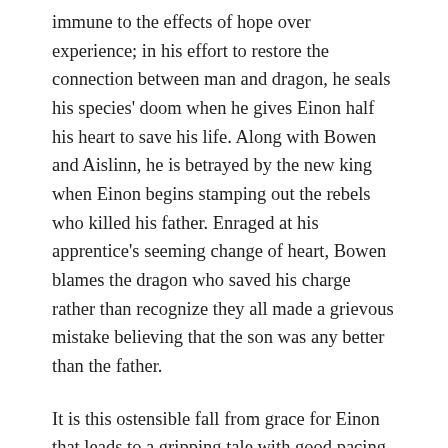immune to the effects of hope over experience; in his effort to restore the connection between man and dragon, he seals his species' doom when he gives Einon half his heart to save his life. Along with Bowen and Aislinn, he is betrayed by the new king when Einon begins stamping out the rebels who killed his father. Enraged at his apprentice's seeming change of heart, Bowen blames the dragon who saved his charge rather than recognize they all made a grievous mistake believing that the son was any better than the father.
It is this ostensible fall from grace for Einon that leads to a gripping tale with good pacing, great characterization, and an excellent finale. The critics may have panned Dragonheart, but their reasons for doing so remain a mystery to this author. No matter how one looks at it, the movie is a cinematic jewel, from the script on up to